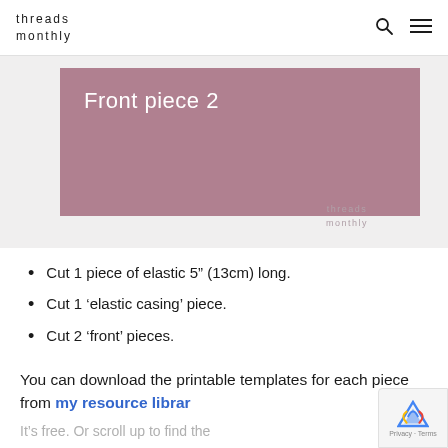threads monthly
[Figure (photo): Sewing pattern piece labeled 'Front piece 2' shown on a dusty rose/mauve fabric background with watermark 'threads monthly']
Cut 1 piece of elastic 5″ (13cm) long.
Cut 1 'elastic casing' piece.
Cut 2 'front' pieces.
You can download the printable templates for each piece from my resource library
It's free. Or scroll up to find the